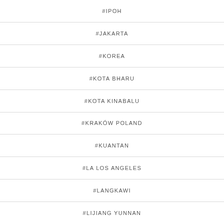#IPOH
#JAKARTA
#KOREA
#KOTA BHARU
#KOTA KINABALU
#KRAKÓW POLAND
#KUANTAN
#LA LOS ANGELES
#LANGKAWI
#LIJIANG YUNNAN